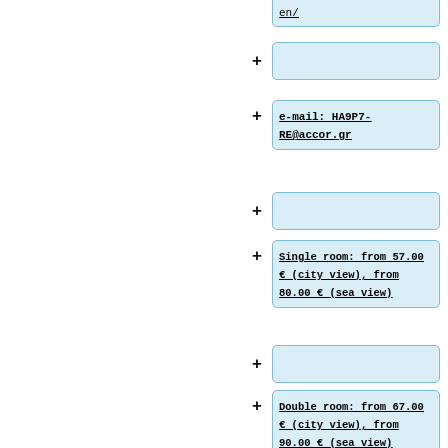en/
e-mail: HA9P7-RE@accor.gr
Single room: from 57.00 € (city view), from 80.00 € (sea view)
Double room: from 67.00 € (city view), from 90.00 € (sea view)
* '''[https://www.atrion.gr/en_ATRION_Hotel]''' A